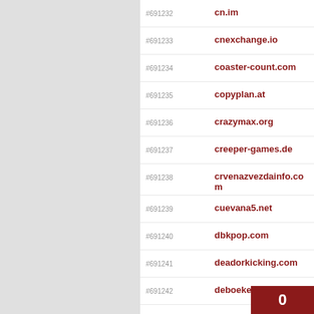#691232 cn.im
#691233 cnexchange.io
#691234 coaster-count.com
#691235 copyplan.at
#691236 crazymax.org
#691237 creeper-games.de
#691238 crvenazvezdainfo.com
#691239 cuevana5.net
#691240 dbkpop.com
#691241 deadorkicking.com
#691242 deboekenplank.nl
#691243 delayforreddit.com
#691244 dieci.com